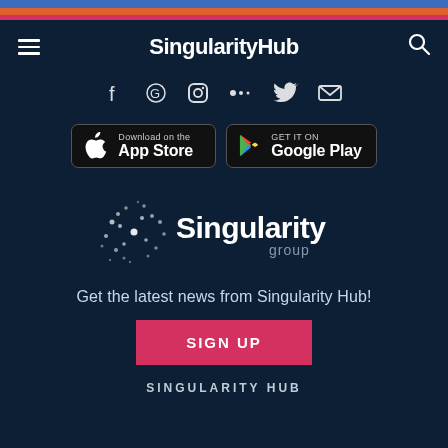SingularityHub
[Figure (screenshot): Social media icons row: Facebook, YouTube/Google, Instagram, Medium, Twitter, email]
[Figure (screenshot): App store download buttons: Download on the App Store and GET IT ON Google Play]
[Figure (logo): Singularity Group logo with starburst/network icon and text 'Singularity group']
Get the latest news from Singularity Hub!
SIGN UP
SINGULARITY HUB